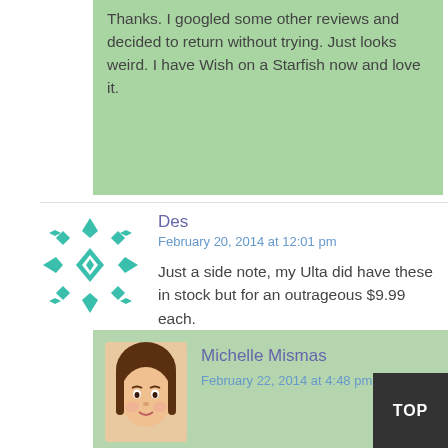Thanks. I googled some other reviews and decided to return without trying. Just looks weird. I have Wish on a Starfish now and love it.
[Figure (illustration): Teal snowflake/geometric avatar icon for user Des]
Des
February 20, 2014 at 12:01 pm
Just a side note, my Ulta did have these in stock but for an outrageous $9.99 each.
[Figure (illustration): Illustrated female avatar with brown hair for Michelle Mismas]
Michelle Mismas
February 22, 2014 at 4:48 pm